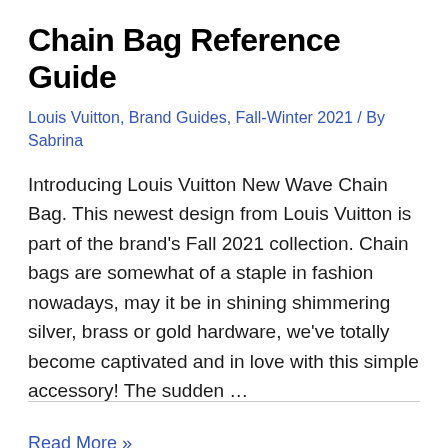Chain Bag Reference Guide
Louis Vuitton, Brand Guides, Fall-Winter 2021 / By Sabrina
Introducing Louis Vuitton New Wave Chain Bag. This newest design from Louis Vuitton is part of the brand's Fall 2021 collection. Chain bags are somewhat of a staple in fashion nowadays, may it be in shining shimmering silver, brass or gold hardware, we've totally become captivated and in love with this simple accessory! The sudden …
Read More »